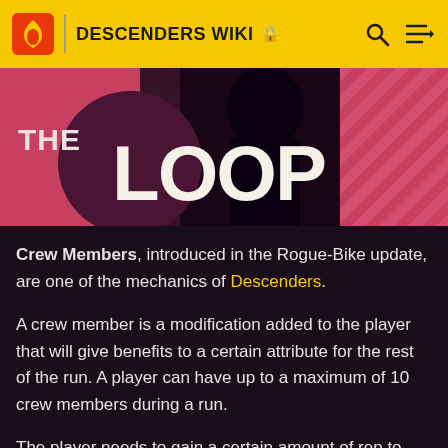DESCENDERS WIKI
[Figure (screenshot): THE LOOP banner image with pink/salmon diagonal striped background and dark hooded figure, with large white text 'THE LOOP' over a dark magenta circle]
Crew Members, introduced in the Rogue-Bike update, are one of the mechanics of Descenders.
A crew member is a modification added to the player that will give benefits to a certain attribute for the rest of the run. A player can have up to a maximum of 10 crew members during a run.
The player needs to gain a certain amount of rep to gain a crew member. This amount of rep required increases